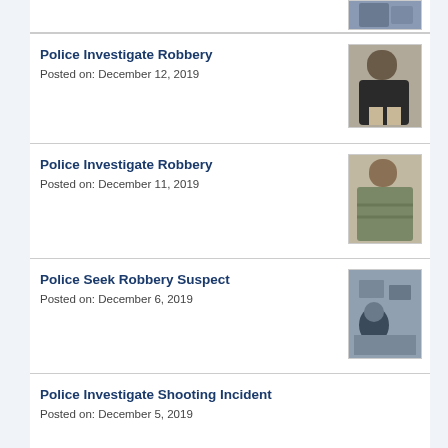[Figure (photo): Partial thumbnail visible at top right, person partially shown]
Police Investigate Robbery
Posted on: December 12, 2019
[Figure (photo): Surveillance photo of a person in a dark hoodie]
Police Investigate Robbery
Posted on: December 11, 2019
[Figure (photo): Photo of a person wearing a cap and plaid shirt]
Police Seek Robbery Suspect
Posted on: December 6, 2019
[Figure (photo): Overhead surveillance photo of a person near a counter]
Police Investigate Shooting Incident
Posted on: December 5, 2019
Police Continue to Investigate Homicide, Seek Second Suspect
[Figure (photo): Photo of a man's face]